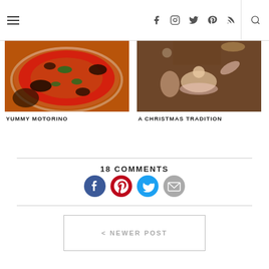Navigation bar with hamburger menu, social icons (Facebook, Instagram, Twitter, Pinterest, RSS), and search
[Figure (photo): Close-up photo of a Neapolitan pizza with tomato sauce and basil (Motorino)]
YUMMY MOTORINO
[Figure (photo): Ballet performance photo with dancers in Christmas/nutcracker costumes on stage]
A CHRISTMAS TRADITION
18 COMMENTS
[Figure (infographic): Four social sharing icons: Facebook (blue), Pinterest (red), Twitter (cyan), Email (grey)]
< NEWER POST